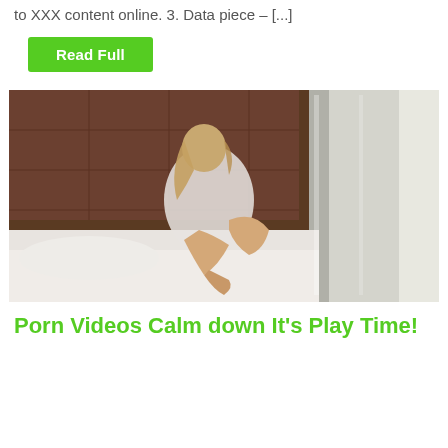to XXX content online. 3. Data piece – [...]
Read Full
[Figure (photo): Woman in white shirt sitting on a bed near a window with curtains, looking to the side, warm lamp light in background]
Porn Videos Calm down It's Play Time!